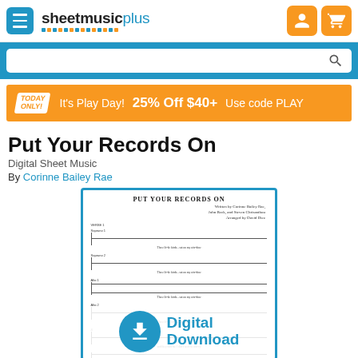[Figure (logo): Sheet Music Plus logo with hamburger menu icon and navigation icons]
[Figure (screenshot): Search bar with blue background]
It's Play Day!  25% Off $40+  Use code PLAY — TODAY ONLY!
Put Your Records On
Digital Sheet Music
By Corinne Bailey Rae
[Figure (illustration): Sheet music preview for 'Put Your Records On' showing choral arrangement with multiple voice parts (Soprano 1, Soprano 2, Alto 1, Alto 2) and a Digital Download badge overlay]